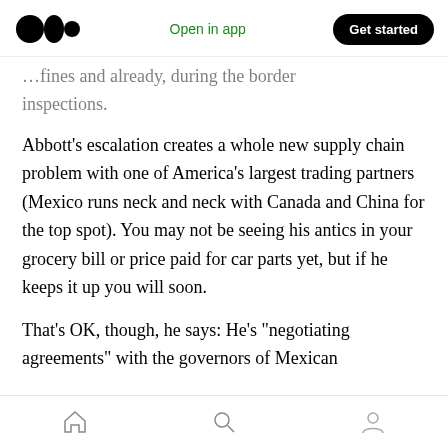Medium logo | Open in app | Get started
...fines and already, during the border inspections.
Abbott’s escalation creates a whole new supply chain problem with one of America’s largest trading partners (Mexico runs neck and neck with Canada and China for the top spot). You may not be seeing his antics in your grocery bill or price paid for car parts yet, but if he keeps it up you will soon.
That’s OK, though, he says: He’s “negotiating agreements” with the governors of Mexican
Home | Search | Profile